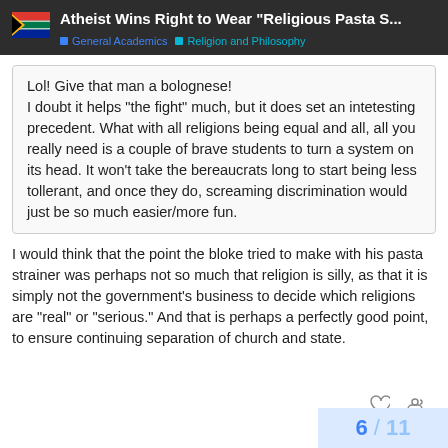Atheist Wins Right to Wear "Religious Pasta S..." | General Academics | Religion and Philosophy
Lol! Give that man a bolognese!
I doubt it helps “the fight” much, but it does set an intetesting precedent. What with all religions being equal and all, all you really need is a couple of brave students to turn a system on its head. It won’t take the bereaucrats long to start being less tollerant, and once they do, screaming discrimination would just be so much easier/more fun.
I would think that the point the bloke tried to make with his pasta strainer was perhaps not so much that religion is silly, as that it is simply not the government’s business to decide which religions are “real” or “serious.” And that is perhaps a perfectly good point, to ensure continuing separation of church and state.
6 / 11